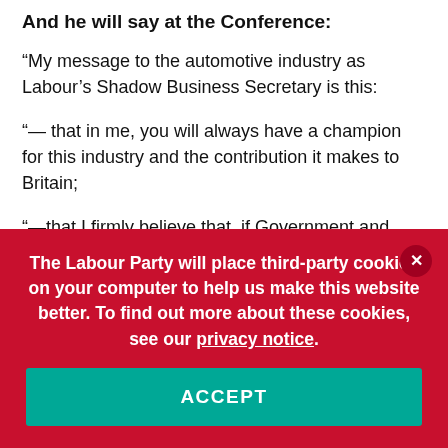And he will say at the Conference:
“My message to the automotive industry as Labour’s Shadow Business Secretary is this:
“— that in me, you will always have a champion for this industry and the contribution it makes to Britain;
“—that I firmly believe that, if Government and industry works together, we can secure the sector’s future as a global leader;
“— and that in order to achieve this … [text cut off]
The Labour Party will place third-party cookies on your computer to help us make this website better. To find out more about these cookies, see our privacy notice.
ACCEPT